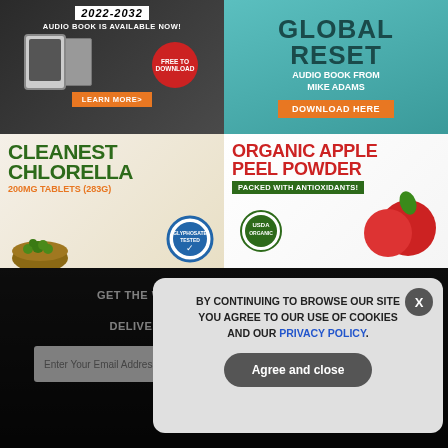[Figure (illustration): Audio book advertisement with text '2022-2032 AUDIO BOOK IS AVAILABLE NOW!' and 'FREE TO DOWNLOAD' badge with 'LEARN MORE>' button]
[Figure (illustration): GLOBAL RESET Audio Book from Mike Adams advertisement with 'DOWNLOAD HERE' button on teal background]
[Figure (illustration): CLEANEST CHLORELLA 200MG TABLETS (283g) product advertisement with green text on light background]
[Figure (illustration): ORGANIC APPLE PEEL POWDER - PACKED WITH ANTIOXIDANTS! product advertisement with red apples and USDA ORGANIC badge]
GET THE WORLD'S BEST NATURAL HEALTH NEWSLETTER DELIVERED STRAIGHT TO YOUR INBOX
Enter Your Email Address
SUBSCRIBE
BY CONTINUING TO BROWSE OUR SITE YOU AGREE TO OUR USE OF COOKIES AND OUR PRIVACY POLICY.
Agree and close